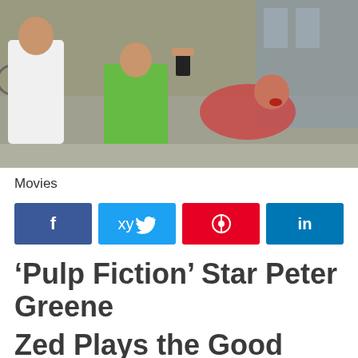[Figure (photo): People in a physical altercation on a street, one person in a white shirt, another in a green shirt, another appearing to have a bloody face.]
Movies
[Figure (infographic): Social media share buttons: Facebook (f), Twitter (bird), Pinterest (p), LinkedIn (in)]
‘Pulp Fiction’ Star Peter Greene
Zed Plays the Good Guy ...
Breaks Up Chick Fight in